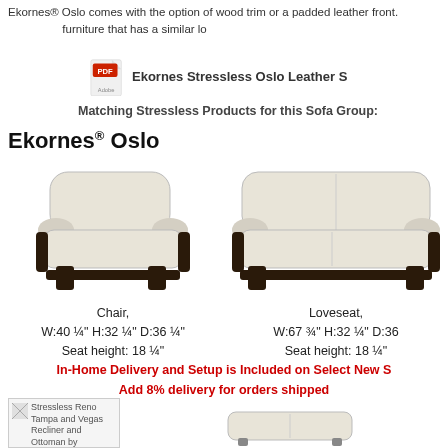Ekornes® Oslo comes with the option of wood trim or a padded leather front. furniture that has a similar lo
[Figure (other): PDF icon with link text: Ekornes Stressless Oslo Leather S]
Matching Stressless Products for this Sofa Group:
Ekornes® Oslo
[Figure (photo): Photo of an Ekornes Oslo chair in cream leather with dark wood frame]
[Figure (photo): Photo of an Ekornes Oslo loveseat in cream leather with dark wood frame]
Chair, W:40 1/4" H:32 1/4" D:36 1/4" Seat height: 18 1/4"
Loveseat, W:67 3/4" H:32 1/4" D:36 Seat height: 18 1/4"
In-Home Delivery and Setup is Included on Select New S Add 8% delivery for orders shipped
[Figure (photo): Stressless Reno Tampa and Vegas Recliner and Ottoman by placeholder image]
[Figure (photo): Photo of an Ottoman in cream leather]